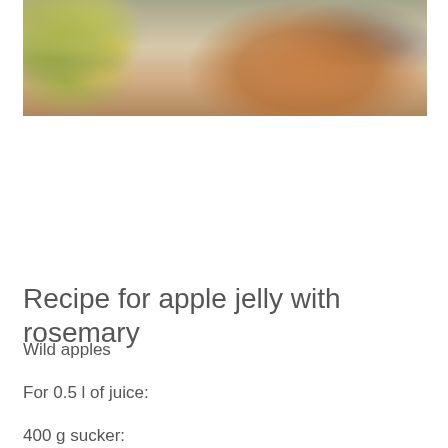[Figure (photo): Kitchen scene with flowers in a vase, jars of jelly, and kitchen items on a wooden surface]
Recipe for apple jelly with rosemary
Wild apples
For 0.5 l of juice:
400 g sucker: